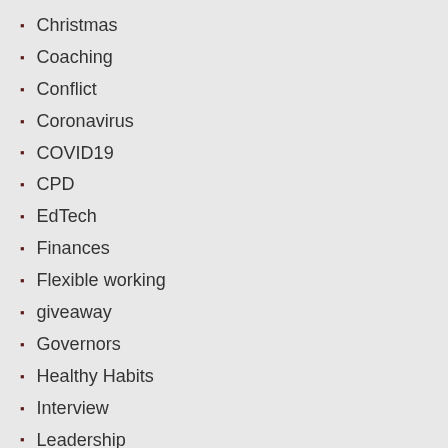Christmas
Coaching
Conflict
Coronavirus
COVID19
CPD
EdTech
Finances
Flexible working
giveaway
Governors
Healthy Habits
Interview
Leadership
Marking
Mental Health
Mesothelioma
Mindfullness